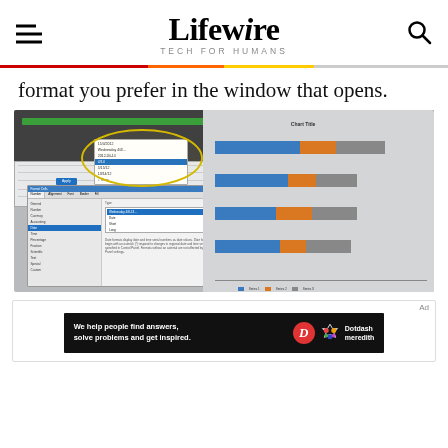Lifewire — TECH FOR HUMANS
format you prefer in the window that opens.
[Figure (screenshot): Screenshot of Microsoft Excel showing a Gantt chart being created, with a dropdown date format menu open on the left side and a Format Cells dialog overlaying the spreadsheet. The right portion shows a Gantt chart with colored bars (blue, orange, gray).]
[Figure (infographic): Advertisement banner for Dotdash Meredith with text 'We help people find answers, solve problems and get inspired.' with Dotdash Meredith logo on a dark background.]